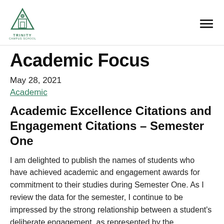Trinity Campus Logo | Hamburger menu
Academic Focus
May 28, 2021
Academic
Academic Excellence Citations and Engagement Citations – Semester One
I am delighted to publish the names of students who have achieved academic and engagement awards for commitment to their studies during Semester One. As I review the data for the semester, I continue to be impressed by the strong relationship between a student's deliberate engagement, as represented by the